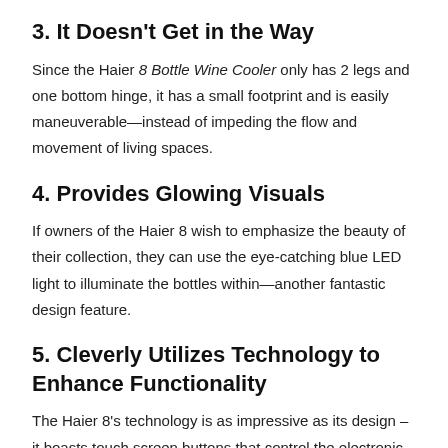3. It Doesn't Get in the Way
Since the Haier 8 Bottle Wine Cooler only has 2 legs and one bottom hinge, it has a small footprint and is easily maneuverable—instead of impeding the flow and movement of living spaces.
4. Provides Glowing Visuals
If owners of the Haier 8 wish to emphasize the beauty of their collection, they can use the eye-catching blue LED light to illuminate the bottles within—another fantastic design feature.
5. Cleverly Utilizes Technology to Enhance Functionality
The Haier 8's technology is as impressive as its design – it boasts touch screen buttons that control the electronic thermostat. Thus, wine can be chilled to the drinker's preference with the press of a